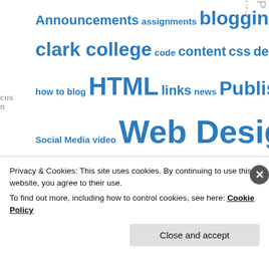[Figure (infographic): Word/tag cloud with education and web-related terms in varying sizes and bold blue text, with partial decorative vertical text on left and right edges.]
Privacy & Cookies: This site uses cookies. By continuing to use this website, you agree to their use.
To find out more, including how to control cookies, see here: Cookie Policy
Close and accept